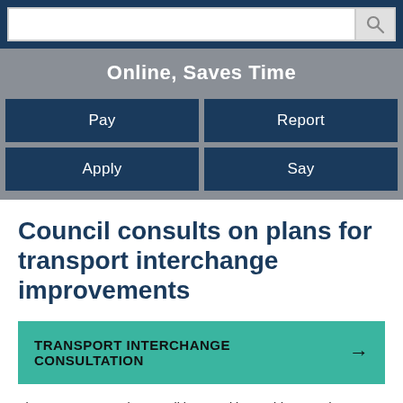Search bar
Online, Saves Time
[Figure (infographic): Four navigation buttons: Pay, Report, Apply, Say]
Council consults on plans for transport interchange improvements
TRANSPORT INTERCHANGE CONSULTATION →
The County Borough Council is consulting residents and businesses on plans to improve the 'corridor' between the new